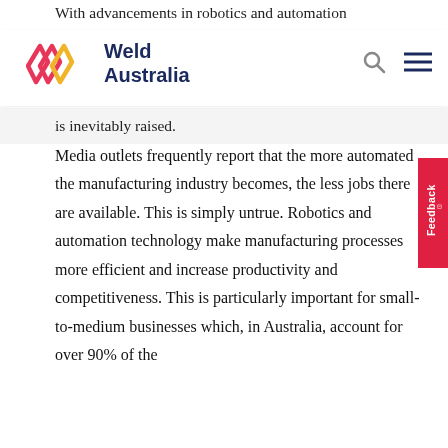With advancements in robotics and automation
[Figure (logo): Weld Australia logo with stylized W mark in red/pink and yellow, and bold navy text reading Weld Australia]
is inevitably raised.
Media outlets frequently report that the more automated the manufacturing industry becomes, the less jobs there are available. This is simply untrue. Robotics and automation technology make manufacturing processes more efficient and increase productivity and competitiveness. This is particularly important for small-to-medium businesses which, in Australia, account for over 90% of the